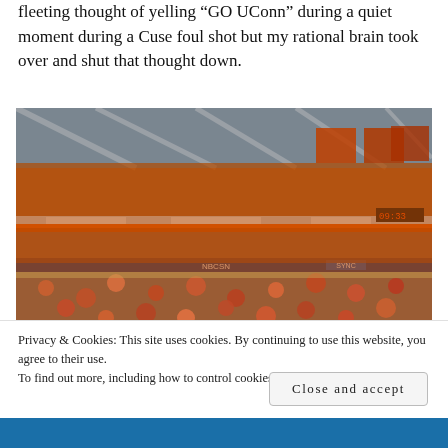fleeting thought of yelling “GO UConn” during a quiet moment during a Cuse foul shot but my rational brain took over and shut that thought down.
[Figure (photo): Crowded indoor basketball arena (likely Syracuse's Carrier Dome) filled with fans wearing orange, scoreboard visible, taken from lower seating area looking across the court toward packed stands with championship banners hanging from the ceiling.]
Privacy & Cookies: This site uses cookies. By continuing to use this website, you agree to their use.
To find out more, including how to control cookies, see here: Cookie Policy
Close and accept